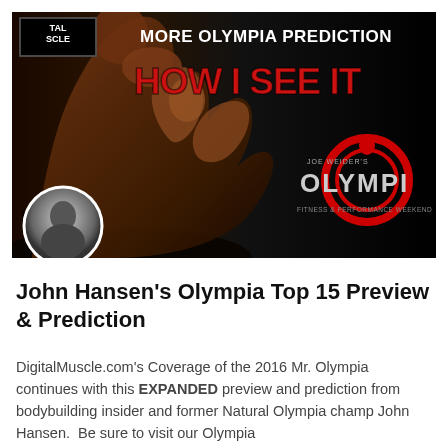[Figure (photo): Banner image showing a muscular bodybuilder flexing with text 'More Olympia Predictions - How I See It' and the Mr. Olympia logo on a dark background. Includes a round avatar photo of John Hansen in the lower left corner of the banner.]
John Hansen's Olympia Top 15 Preview & Prediction
DigitalMuscle.com's Coverage of the 2016 Mr. Olympia continues with this EXPANDED preview and prediction from bodybuilding insider and former Natural Olympia champ John Hansen.  Be sure to visit our Olympia